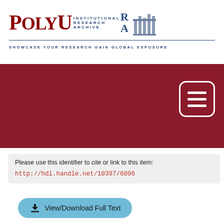[Figure (logo): PolyU Institutional Research Archive logo with building graphic and tagline 'Showcase your research gain global exposure']
[Figure (screenshot): Dark red/maroon navigation banner with hamburger menu icon in top right]
Please use this identifier to cite or link to this item:
http://hdl.handle.net/10397/6096
[Figure (other): View/Download Full Text button (light blue rounded rectangle with download arrow icon)]
| DC Field | Value | La |
| --- | --- | --- |
| dc.contributor | Department of Applied Mathematics | - |
| dc.creator | Chen, X | - |